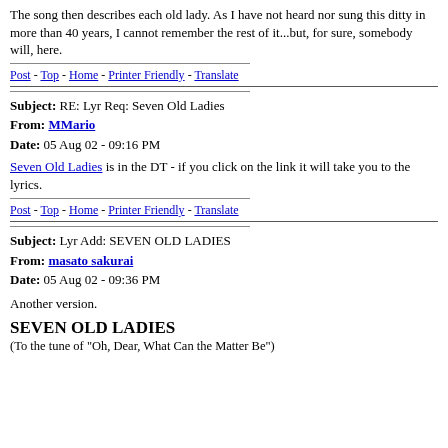The song then describes each old lady. As I have not heard nor sung this ditty in more than 40 years, I cannot remember the rest of it...but, for sure, somebody will, here.
Post - Top - Home - Printer Friendly - Translate
Subject: RE: Lyr Req: Seven Old Ladies
From: MMario
Date: 05 Aug 02 - 09:16 PM
Seven Old Ladies is in the DT - if you click on the link it will take you to the lyrics.
Post - Top - Home - Printer Friendly - Translate
Subject: Lyr Add: SEVEN OLD LADIES
From: masato sakurai
Date: 05 Aug 02 - 09:36 PM
Another version.
SEVEN OLD LADIES
(To the tune of "Oh, Dear, What Can the Matter Be")